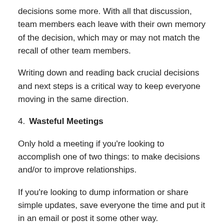decisions some more. With all that discussion, team members each leave with their own memory of the decision, which may or may not match the recall of other team members.
Writing down and reading back crucial decisions and next steps is a critical way to keep everyone moving in the same direction.
4. Wasteful Meetings
Only hold a meeting if you’re looking to accomplish one of two things: to make decisions and/or to improve relationships.
If you’re looking to dump information or share simple updates, save everyone the time and put it in an email or post it some other way.